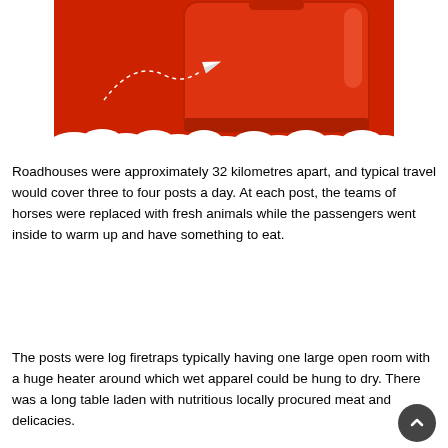[Figure (illustration): Illustration of a large red suitcase or luggage piece above white clouds, with a small white paper airplane flying in front on a dotted curved path, on a red background.]
Roadhouses were approximately 32 kilometres apart, and typical travel would cover three to four posts a day. At each post, the teams of horses were replaced with fresh animals while the passengers went inside to warm up and have something to eat.
The posts were log firetraps typically having one large open room with a huge heater around which wet apparel could be hung to dry. There was a long table laden with nutritious locally procured meat and delicacies.